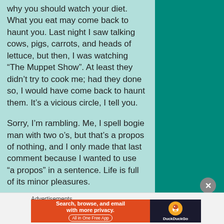why you should watch your diet. What you eat may come back to haunt you. Last night I saw talking cows, pigs, carrots, and heads of lettuce, but then, I was watching “The Muppet Show”. At least they didn’t try to cook me; had they done so, I would have come back to haunt them. It’s a vicious circle, I tell you.
Sorry, I’m rambling. Me, I spell bogie man with two o’s, but that’s a propos of nothing, and I only made that last comment because I wanted to use “a propos” in a sentence. Life is full of its minor pleasures.
All right, I’ll shut up.
Advertisements
[Figure (other): DuckDuckGo advertisement banner: orange left side with text 'Search, browse, and email with more privacy. All in One Free App', dark right side with DuckDuckGo logo and name.]